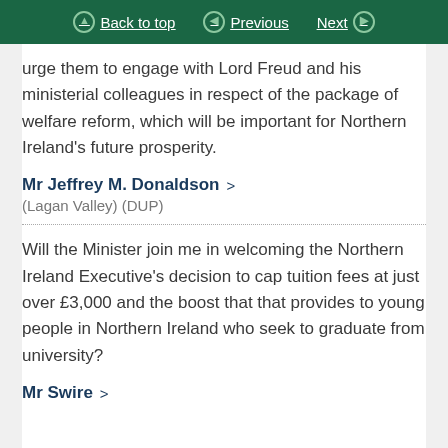Back to top | Previous | Next
urge them to engage with Lord Freud and his ministerial colleagues in respect of the package of welfare reform, which will be important for Northern Ireland's future prosperity.
Mr Jeffrey M. Donaldson >
(Lagan Valley) (DUP)
Will the Minister join me in welcoming the Northern Ireland Executive's decision to cap tuition fees at just over £3,000 and the boost that that provides to young people in Northern Ireland who seek to graduate from university?
Mr Swire >